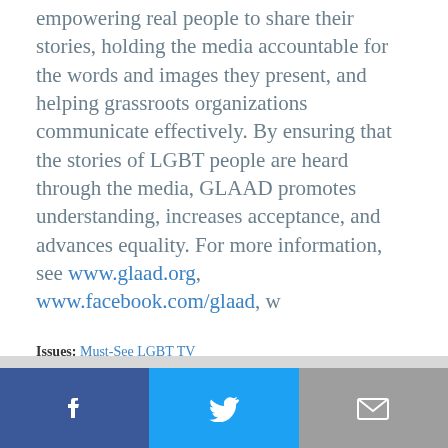empowering real people to share their stories, holding the media accountable for the words and images they present, and helping grassroots organizations communicate effectively. By ensuring that the stories of LGBT people are heard through the media, GLAAD promotes understanding, increases acceptance, and advances equality. For more information, see www.glaad.org, www.facebook.com/glaad, w…
Issues: Must-See LGBT TV
Tags: Say Yes to the Dress: Atlanta, L Word Mississippi: Hate the Sin, Please Like Me, The Last Ship, True Blood